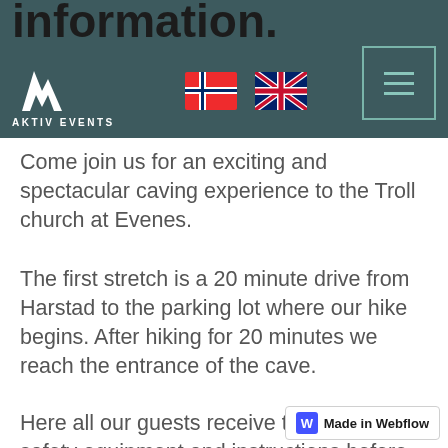information. [navigation bar with Aktiv Events logo, Norwegian flag, UK flag, hamburger menu]
Come join us for an exciting and spectacular caving experience to the Troll church at Evenes.
The first stretch is a 20 minute drive from Harstad to the parking lot where our hike begins. After hiking for 20 minutes we reach the entrance of the cave.
Here all our guests receive the necessary safety equipment and instructions before we start rappelling down and into the cave. This will be done safely and in several phases. On your way down you will hear stories about